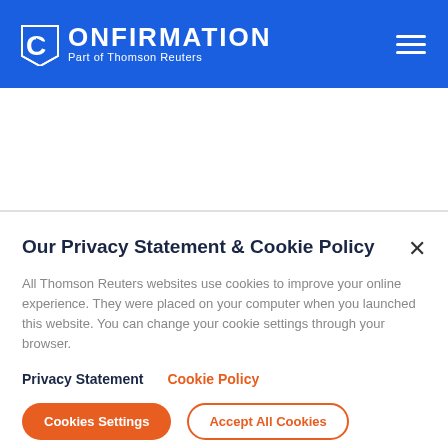CONFIRMATION Part of Thomson Reuters
Our Privacy Statement & Cookie Policy
All Thomson Reuters websites use cookies to improve your online experience. They were placed on your computer when you launched this website. You can change your cookie settings through your browser.
Privacy Statement   Cookie Policy
Cookies Settings   Accept All Cookies